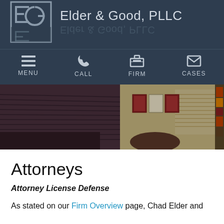Elder & Good, PLLC
[Figure (logo): Elder & Good PLLC logo — stylized E and G letters in a square frame with reflection, dark blue-grey background, firm name displayed to the right]
[Figure (photo): Interior photo of law office conference/waiting room with blinds, framed certificates on wall, bookshelves, leather seating]
Attorneys
Attorney License Defense
As stated on our Firm Overview page, Chad Elder and